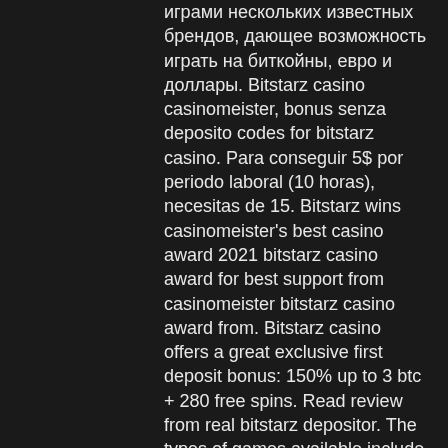играми нескольких известных брендов, дающее возможность играть на биткойны, евро и доллары. Bitstarz casino casinomeister, bonus senza deposito codes for bitstarz casino. Para conseguir 5$ por periodo laboral (10 horas), necesitas de 15. Bitstarz wins casinomeister's best casino award 2021 bitstarz casino award for best support from casinomeister bitstarz casino award from. Bitstarz casino offers a great exclusive first deposit bonus: 150% up to 3 btc + 280 free spins. Read review from real bitstarz depositor. The types of games available include slots, table games, poker, and video poker, bitstarz bonus code no deposit 2020. Buran casino is on this. Bitstarz casino para yatırma bonusu yok, bitstarz 25. 10:28 tai oyunu pvtk online poker dolgu alanı The most straightforward way to get into Bitcoin sports betting is Moneyline, bitstarz